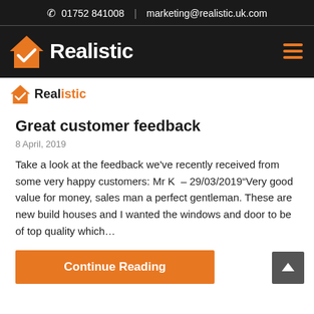01752 841008  |  marketing@realistic.uk.com
[Figure (logo): Realistic home improvement company logo with orange house and checkmark icon, white text 'Realistic' on dark background]
[Figure (logo): Smaller Realistic logo with orange house and checkmark icon, dark text on white background]
Great customer feedback
8 April, 2019
Take a look at the feedback we've recently received from some very happy customers: Mr K  – 29/03/2019"Very good value for money, sales man a perfect gentleman. These are new build houses and I wanted the windows and door to be of top quality which…
Continue Reading